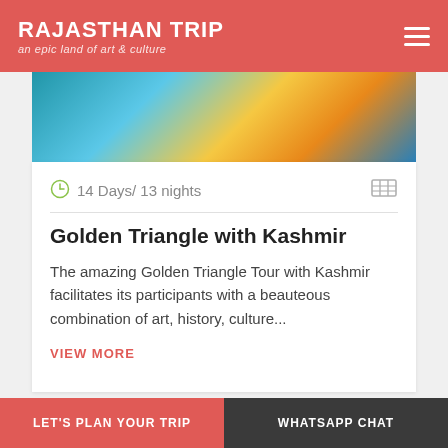RAJASTHAN TRIP — an epic land of art & culture
[Figure (photo): Colorful boats on water — blue, yellow, and orange boats seen from above]
14 Days/ 13 nights
Golden Triangle with Kashmir
The amazing Golden Triangle Tour with Kashmir facilitates its participants with a beauteous combination of art, history, culture...
VIEW MORE
LET'S PLAN YOUR TRIP | WHATSAPP CHAT